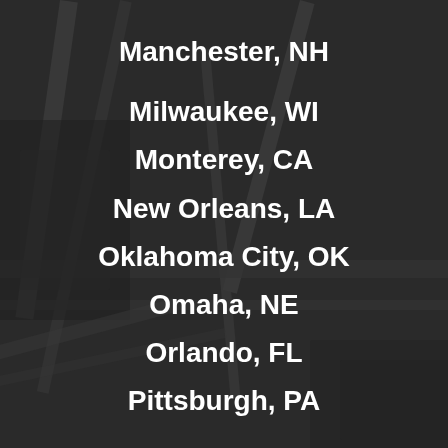Manchester, NH
Milwaukee, WI
Monterey, CA
New Orleans, LA
Oklahoma City, OK
Omaha, NE
Orlando, FL
Pittsburgh, PA